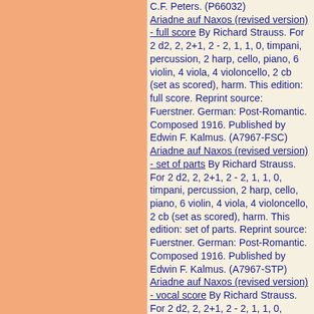C.F. Peters. (P66032) Ariadne auf Naxos (revised version) - full score By Richard Strauss. For 2 d2, 2, 2+1, 2 - 2, 1, 1, 0, timpani, percussion, 2 harp, cello, piano, 6 violin, 4 viola, 4 violoncello, 2 cb (set as scored), harm. This edition: full score. Reprint source: Fuerstner. German: Post-Romantic. Composed 1916. Published by Edwin F. Kalmus. (A7967-FSC)
Ariadne auf Naxos (revised version) - set of parts By Richard Strauss. For 2 d2, 2, 2+1, 2 - 2, 1, 1, 0, timpani, percussion, 2 harp, cello, piano, 6 violin, 4 viola, 4 violoncello, 2 cb (set as scored), harm. This edition: set of parts. Reprint source: Fuerstner. German: Post-Romantic. Composed 1916. Published by Edwin F. Kalmus. (A7967-STP)
Ariadne auf Naxos (revised version) - vocal score By Richard Strauss. For 2 d2, 2, 2+1, 2 - 2, 1, 1, 0, timpani, percussion, 2 harp, cello, piano, 6 violin, 4 viola, 4 violoncello, 2 cb (set as scored), harm. This edition: vocal score. Reprint source: Fuerstner. German: Post-Romantic. Composed 1916. Published by